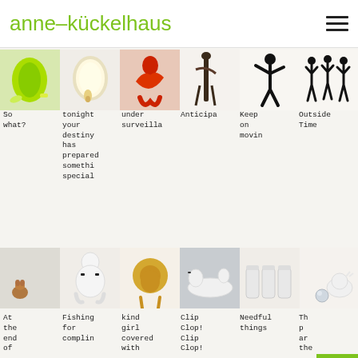anne–kückelhaus
[Figure (photo): Grid of 6 artwork photos: green cloth/bag, illuminated oval mirror with small figure, red figure crouching, dark sculptural figure, black silhouette dancer, black silhouettes of figures]
So what?
tonight your destiny has prepared something special
under surveilla
Anticipa
Keep on movin
Outside Time
[Figure (photo): Grid of 6 artwork photos: small animal figure, white crouching figure with black details, golden lion sculpture, white abstract figure fallen, three white ceramic jars, white cat/animal with chrome ball]
At the end of
Fishing for complin
kind girl covered with
Clip Clop! Clip Clop!
Needful things
Th p ar the